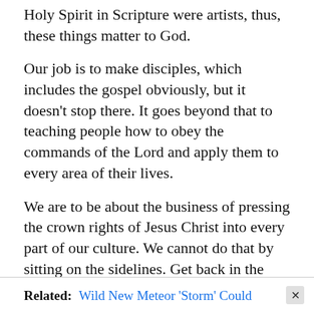Holy Spirit in Scripture were artists, thus, these things matter to God.
Our job is to make disciples, which includes the gospel obviously, but it doesn’t stop there. It goes beyond that to teaching people how to obey the commands of the Lord and apply them to every area of their lives.
We are to be about the business of pressing the crown rights of Jesus Christ into every part of our culture. We cannot do that by sitting on the sidelines. Get back in the game, church!
Related:  Wild New Meteor ‘Storm’ Could